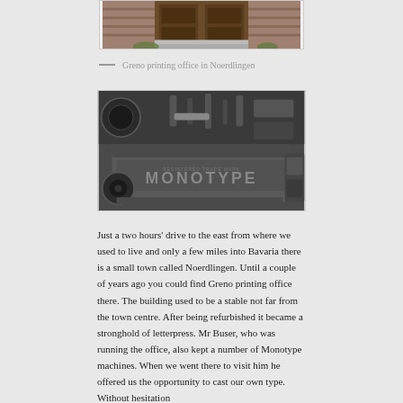[Figure (photo): Top portion of a photo showing the Greno printing office building in Noerdlingen — wooden doors and brick facade visible]
— Greno printing office in Noerdlingen
[Figure (photo): Close-up photograph of a Monotype typesetting machine, showing the metal casing with the word MONOTYPE embossed on it, along with mechanical parts]
Just a two hours' drive to the east from where we used to live and only a few miles into Bavaria there is a small town called Noerdlingen. Until a couple of years ago you could find Greno printing office there. The building used to be a stable not far from the town centre. After being refurbished it became a stronghold of letterpress. Mr Buser, who was running the office, also kept a number of Monotype machines. When we went there to visit him he offered us the opportunity to cast our own type. Without hesitation